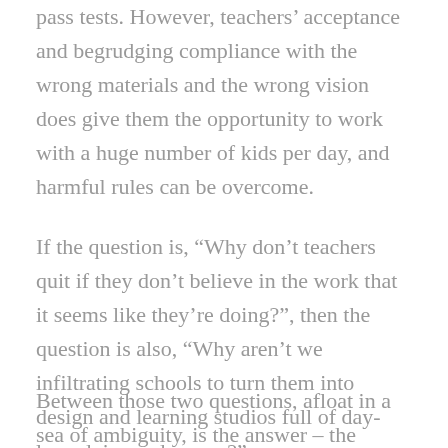pass tests. However, teachers' acceptance and begrudging compliance with the wrong materials and the wrong vision does give them the opportunity to work with a huge number of kids per day, and harmful rules can be overcome.
If the question is, “Why don’t teachers quit if they don’t believe in the work that it seems like they’re doing?”, then the question is also, “Why aren’t we infiltrating schools to turn them into design and learning studios full of day-long dojos and camps?”
Between those two questions, afloat in a sea of ambiguity, is the answer – the possibility – that we